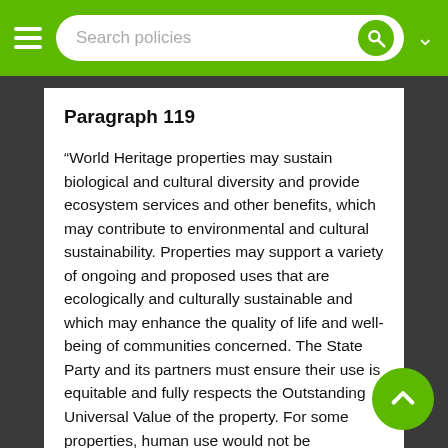Search policies
Paragraph 119
“World Heritage properties may sustain biological and cultural diversity and provide ecosystem services and other benefits, which may contribute to environmental and cultural sustainability. Properties may support a variety of ongoing and proposed uses that are ecologically and culturally sustainable and which may enhance the quality of life and well-being of communities concerned. The State Party and its partners must ensure their use is equitable and fully respects the Outstanding Universal Value of the property. For some properties, human use would not be appropriate. Legislation, policies and strategies affecting World Heritage properties should ensure the protection of the Outstanding Universal Value, support the wider conservation of natural and cultural heritage, and promote and encourage the effective, inclusive and equitable participation of the communities, indigenous peoples and other stakeholders concerned with the property as necessary conditions to its